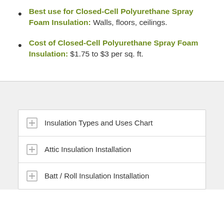Best use for Closed-Cell Polyurethane Spray Foam Insulation: Walls, floors, ceilings.
Cost of Closed-Cell Polyurethane Spray Foam Insulation: $1.75 to $3 per sq. ft.
Insulation Types and Uses Chart
Attic Insulation Installation
Batt / Roll Insulation Installation